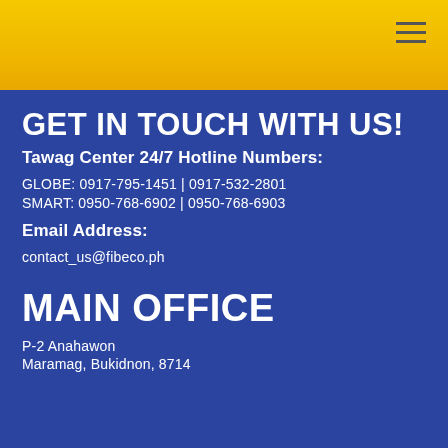GET IN TOUCH WITH US!
Tawag Center 24/7 Hotline Numbers:
GLOBE: 0917-795-1451 | 0917-532-2801
SMART: 0950-768-6902 | 0950-768-6903
Email Address:
contact_us@fibeco.ph
MAIN OFFICE
P-2 Anahawon
Maramag, Bukidnon, 8714